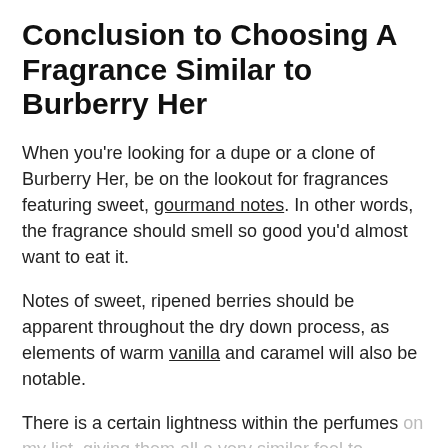Conclusion to Choosing A Fragrance Similar to Burberry Her
When you're looking for a dupe or a clone of Burberry Her, be on the lookout for fragrances featuring sweet, gourmand notes. In other words, the fragrance should smell so good you'd almost want to eat it.
Notes of sweet, ripened berries should be apparent throughout the dry down process, as elements of warm vanilla and caramel will also be notable.
There is a certain lightness within the perfumes on my list, giving them all a very similar feel to Burberry Her that you should also be looking for.